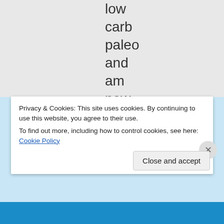low
carb
paleo
and
am
now
back
at my
high
school
weight
Privacy & Cookies: This site uses cookies. By continuing to use this website, you agree to their use.
To find out more, including how to control cookies, see here: Cookie Policy
Close and accept